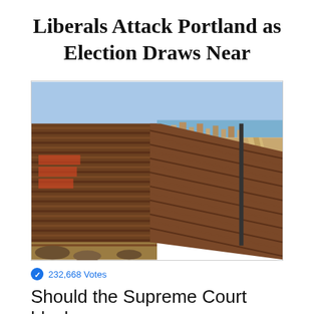Liberals Attack Portland as Election Draws Near
[Figure (photo): A tall corrugated metal border wall/fence extending into the distance along a hillside, with a city and ocean visible on the right side and arid scrubland terrain on the left.]
232,668 Votes
Should the Supreme Court block